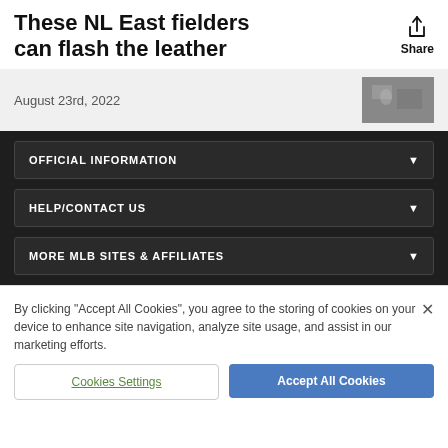These NL East fielders can flash the leather
August 23rd, 2022
OFFICIAL INFORMATION
HELP/CONTACT US
MORE MLB SITES & AFFILIATES
By clicking "Accept All Cookies", you agree to the storing of cookies on your device to enhance site navigation, analyze site usage, and assist in our marketing efforts.
Cookies Settings
Accept All Cookies